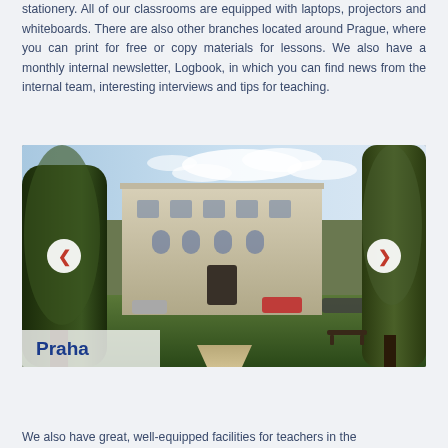stationery. All of our classrooms are equipped with laptops, projectors and whiteboards. There are also other branches located around Prague, where you can print for free or copy materials for lessons. We also have a monthly internal newsletter, Logbook, in which you can find news from the internal team, interesting interviews and tips for teaching.
[Figure (photo): Outdoor photo of a historic Prague building (Praha branch) with large green trees in the foreground, a grass area, path leading to the entrance, parked cars, and a blue sky with clouds. Navigation arrows on left and right sides. 'Praha' label overlay in bottom left corner.]
We also have great, well-equipped facilities for teachers in the